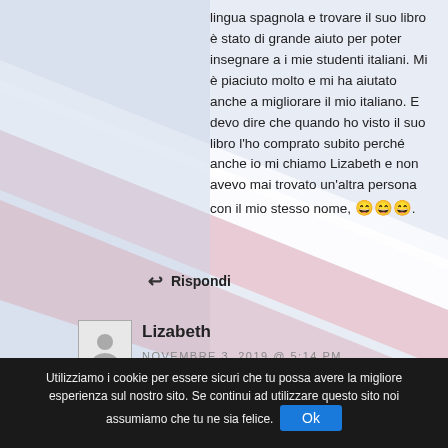lingua spagnola e trovare il suo libro è stato di grande aiuto per poter insegnare a i mie studenti italiani. Mi è piaciuto molto e mi ha aiutato anche a migliorare il mio italiano. E devo dire che quando ho visto il suo libro l'ho comprato subito perché anche io mi chiamo Lizabeth e non avevo mai trovato un'altra persona con il mio stesso nome, 😄😄😄.
↩ Rispondi
Lizabeth
NOVEMBRE 3, 2019 @ 5:14 PM
Utilizziamo i cookie per essere sicuri che tu possa avere la migliore esperienza sul nostro sito. Se continui ad utilizzare questo sito noi assumiamo che tu ne sia felice. Ok